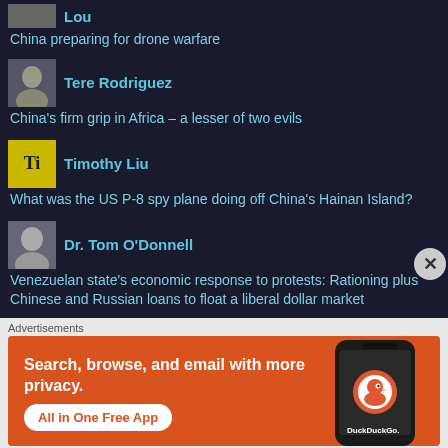China preparing for drone warfare
[Figure (photo): Avatar photo of Tere Rodriguez]
Tere Rodriguez
China's firm grip in Africa – a lesser of two evils
[Figure (logo): Ti logo/avatar for Timothy Liu]
Timothy Liu
What was the US P-8 spy plane doing off China's Hainan Island?
[Figure (photo): Avatar photo of Dr. Tom O'Donnell]
Dr. Tom O'Donnell
Venezuelan state's economic response to protests: Rationing plus Chinese and Russian loans to float a liberal dollar market
Advertisements
[Figure (infographic): DuckDuckGo advertisement: Search, browse, and email with more privacy. All in One Free App. Shows phone with DuckDuckGo logo.]